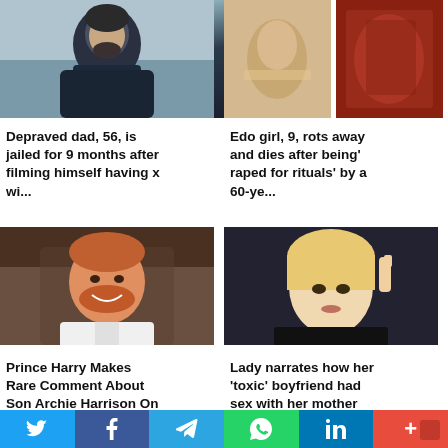[Figure (photo): Man with beard wearing dark beanie hat, outdoors on hillside]
[Figure (photo): Two images side by side: skin lesion close-up and reddish tissue]
Depraved dad, 56, is jailed for 9 months after filming himself having x wi...
Edo girl, 9, rots away and dies after being' raped for rituals' by a 60-ye...
[Figure (photo): Prince Harry smiling, wearing suit, red/auburn beard]
[Figure (photo): Young blonde woman in black top, taking selfie]
Prince Harry Makes Rare Comment About Son Archie Harrison On New Yor...
Lady narrates how her 'toxic' boyfriend had sex with her mother whil...